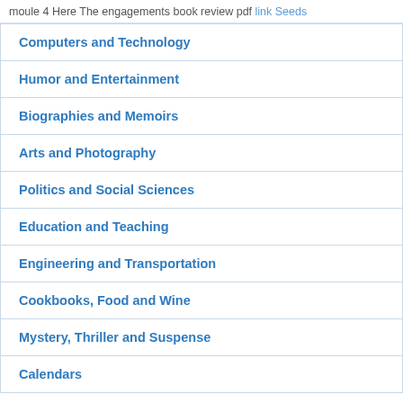moule 4 Here The engagements book review pdf link Seeds
Computers and Technology
Humor and Entertainment
Biographies and Memoirs
Arts and Photography
Politics and Social Sciences
Education and Teaching
Engineering and Transportation
Cookbooks, Food and Wine
Mystery, Thriller and Suspense
Calendars